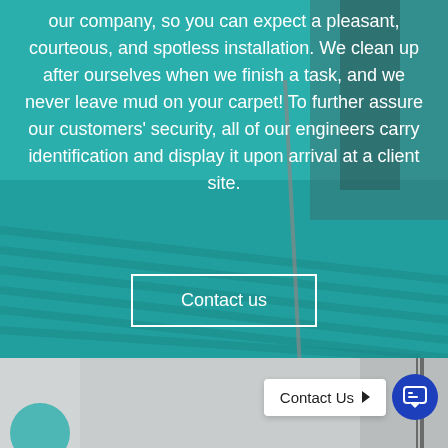[Figure (photo): Background photo of workers with tools on a corrugated metal roof, overlaid with teal/cyan color wash]
our company, so you can expect a pleasant, courteous, and spotless installation. We clean up after ourselves when we finish a task, and we never leave mud on your carpet! To further assure our customers' security, all of our engineers carry identification and display it upon arrival at a client site.
Contact us
[Figure (photo): Bottom strip photo showing a grey metal panel or equipment detail on a vehicle, light background]
Contact Us